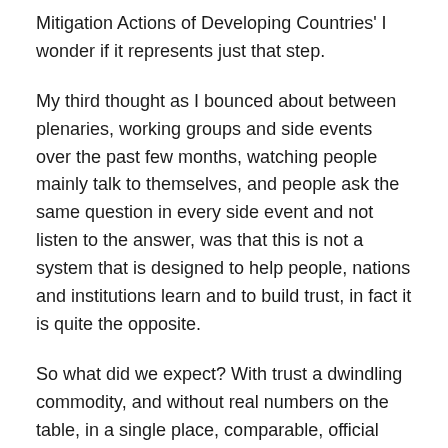Mitigation Actions of Developing Countries' I wonder if it represents just that step.
My third thought as I bounced about between plenaries, working groups and side events over the past few months, watching people mainly talk to themselves, and people ask the same question in every side event and not listen to the answer, was that this is not a system that is designed to help people, nations and institutions learn and to build trust, in fact it is quite the opposite.
So what did we expect? With trust a dwindling commodity, and without real numbers on the table, in a single place, comparable, official and recognised, what realistic hope was there ever of crafting a comprehensive legal deal? In the game of 'nothing is decided until everything is decided' no one was ever going to win.